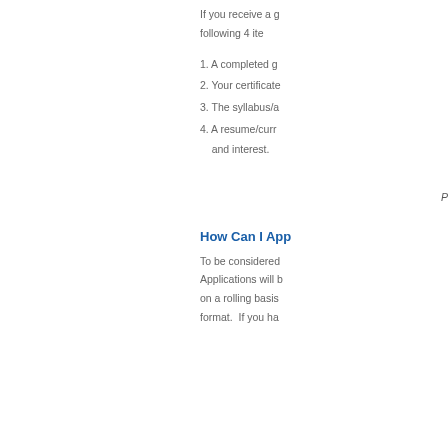If you receive a g following 4 ite
1. A completed g
2. Your certificate
3. The syllabus/a
4. A resume/curr and interest.
P
How Can I App
To be considered Applications will b on a rolling basis format.  If you ha